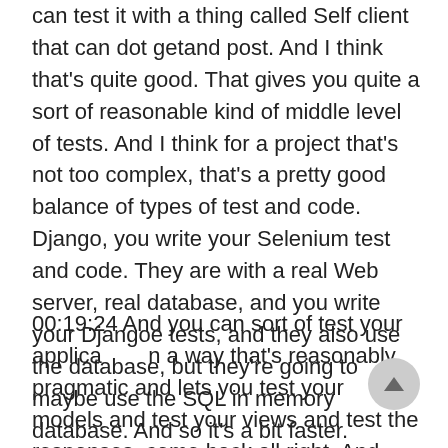can test it with a thing called Self client that can dot getand post. And I think that's quite good. That gives you quite a sort of reasonable kind of middle level of tests. And I think for a project that's not too complex, that's a pretty good balance of types of test and code. Django, you write your Selenium test and code. They are with a real Web server, real database, and you write your Djangoe tests, and they also use the database, but they're going to maybe use the SQL in memory database. And so it's a bit faster.
00:19:24 And you can sort of test your application in a way that's reasonably pragmatic and lets you test your models and test your views and test the responses, come back all right. And that the site